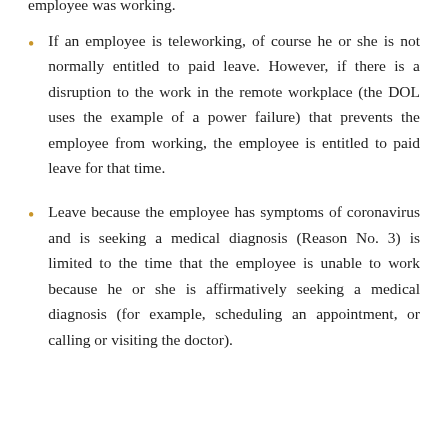employee was working.
If an employee is teleworking, of course he or she is not normally entitled to paid leave. However, if there is a disruption to the work in the remote workplace (the DOL uses the example of a power failure) that prevents the employee from working, the employee is entitled to paid leave for that time.
Leave because the employee has symptoms of coronavirus and is seeking a medical diagnosis (Reason No. 3) is limited to the time that the employee is unable to work because he or she is affirmatively seeking a medical diagnosis (for example, scheduling an appointment, or calling or visiting the doctor).